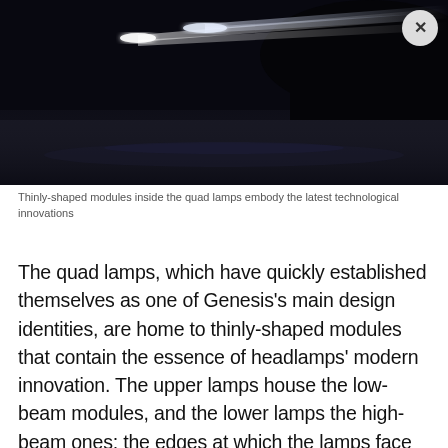[Figure (photo): Dark nighttime photograph of a car's headlights shining bright white beams forward on a dark road. The headlights form distinctive sharp light streaks against the black background.]
Thinly-shaped modules inside the quad lamps embody the latest technological innovations
The quad lamps, which have quickly established themselves as one of Genesis's main design identities, are home to thinly-shaped modules that contain the essence of headlamps' modern innovation. The upper lamps house the low-beam modules, and the lower lamps the high-beam ones; the edges at which the lamps face each other are lined with the LED bars, which house daytime running lights and turn signals